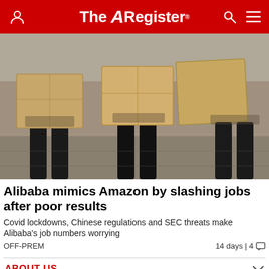The Register
[Figure (photo): Three people from the waist down walking away, each carrying large cardboard boxes, wearing black trousers. Outdoor setting.]
Alibaba mimics Amazon by slashing jobs after poor results
Covid lockdowns, Chinese regulations and SEC threats make Alibaba's job numbers worrying
OFF-PREM    14 days | 4
ABOUT US